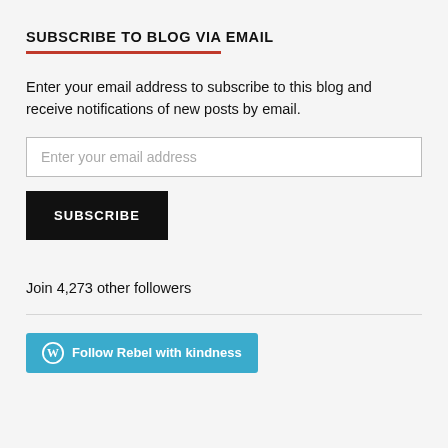SUBSCRIBE TO BLOG VIA EMAIL
Enter your email address to subscribe to this blog and receive notifications of new posts by email.
Enter your email address
SUBSCRIBE
Join 4,273 other followers
[Figure (other): Follow Rebel with kindness button with WordPress logo in teal/blue color]